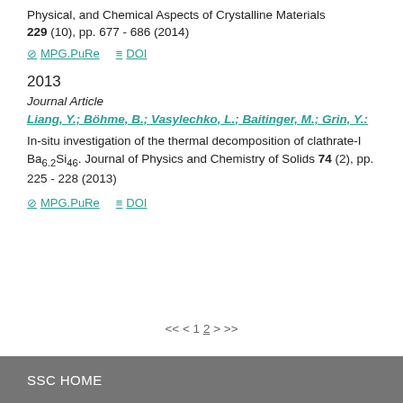Physical, and Chemical Aspects of Crystalline Materials 229 (10), pp. 677 - 686 (2014)
MPG.PuRe   DOI
2013
Journal Article
Liang, Y.; Böhme, B.; Vasylechko, L.; Baitinger, M.; Grin, Y.: In-situ investigation of the thermal decomposition of clathrate-I Ba6.2Si46. Journal of Physics and Chemistry of Solids 74 (2), pp. 225 - 228 (2013)
MPG.PuRe   DOI
<< < 1 2 > >>
SSC HOME